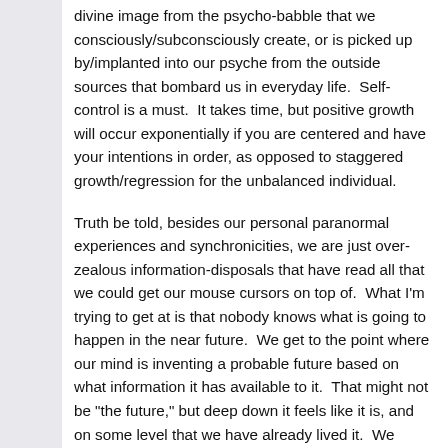divine image from the psycho-babble that we consciously/subconsciously create, or is picked up by/implanted into our psyche from the outside sources that bombard us in everyday life.  Self-control is a must.  It takes time, but positive growth will occur exponentially if you are centered and have your intentions in order, as opposed to staggered growth/regression for the unbalanced individual.
Truth be told, besides our personal paranormal experiences and synchronicities, we are just over-zealous information-disposals that have read all that we could get our mouse cursors on top of.  What I'm trying to get at is that nobody knows what is going to happen in the near future.  We get to the point where our mind is inventing a probable future based on what information it has available to it.  That might not be "the future," but deep down it feels like it is, and on some level that we have already lived it.  We have to learn how to observe and identify our human/animal instincts